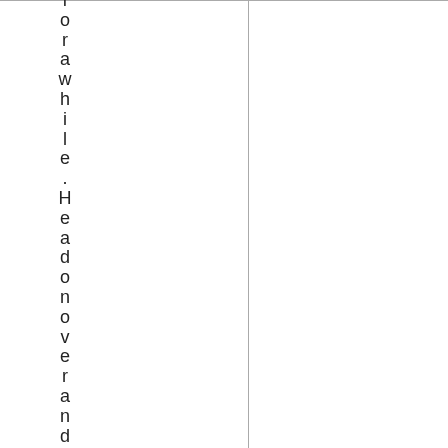for a while. Head on over and en